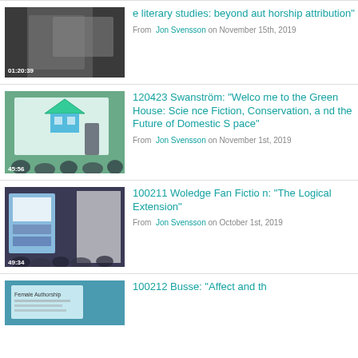[Figure (screenshot): Video thumbnail showing a man presenting in a conference room, duration 01:20:39]
...e literary studies: beyond authorship attribution"
From Jon Svensson on November 15th, 2019
[Figure (screenshot): Video thumbnail showing a woman presenting with a green house slide, duration 45:56]
120423 Swanström: "Welcome to the Green House: Science Fiction, Conservation, and the Future of Domestic Space"
From Jon Svensson on November 1st, 2019
[Figure (screenshot): Video thumbnail showing audience watching a presentation, duration 49:34]
100211 Woledge Fan Fiction: "The Logical Extension"
From Jon Svensson on October 1st, 2019
[Figure (screenshot): Video thumbnail partially visible at bottom, showing a presentation slide]
100212 Busse: "Affect and th...